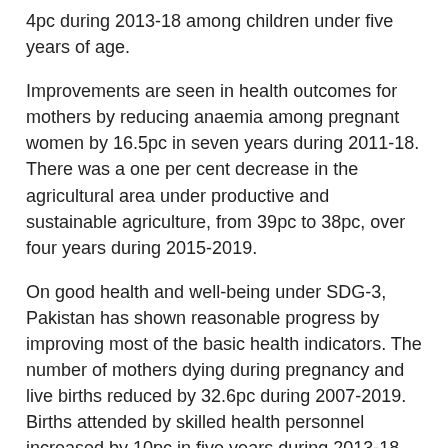4pc during 2013-18 among children under five years of age.
Improvements are seen in health outcomes for mothers by reducing anaemia among pregnant women by 16.5pc in seven years during 2011-18. There was a one per cent decrease in the agricultural area under productive and sustainable agriculture, from 39pc to 38pc, over four years during 2015-2019.
On good health and well-being under SDG-3, Pakistan has shown reasonable progress by improving most of the basic health indicators. The number of mothers dying during pregnancy and live births reduced by 32.6pc during 2007-2019. Births attended by skilled health personnel increased by 10pc in five years during 2013-18. National vaccination coverage improved by 11.5pc in five years between 2013 and 2018.
Concerning education achievements (SDG-4), the country's progress has been dismal. The primary completion rate has stagnated at 67pc